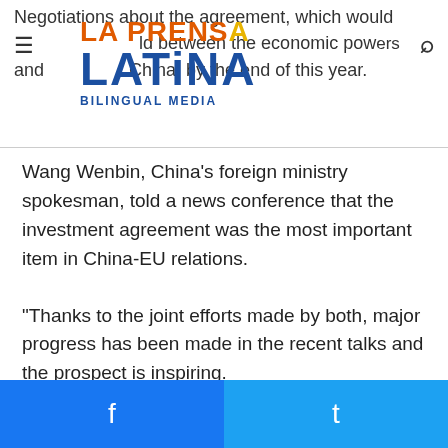La Prensa Latina Bilingual Media
Negotiations about the agreement, which would ... held between the economic powers and ... China, by the end of this year.
Wang Wenbin, China's foreign ministry spokesman, told a news conference that the investment agreement was the most important item in China-EU relations.
“Thanks to the joint efforts made by both, major progress has been made in the recent talks and the prospect is inspiring.
“We hope the agreement can be concluded at an early date so as to provide institutional guarantee for China-EU economic and trade cooperation, and deliver tangible benefits to companies and people on both sides.”
Facebook | Twitter share buttons